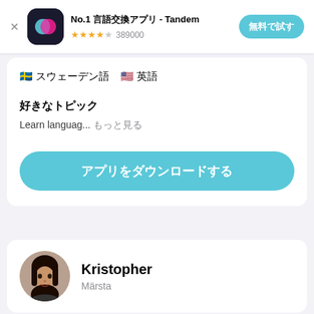[Figure (screenshot): Tandem app advertisement banner with logo, star rating 389000, and 無料で試す button]
🇸🇪 スウェーデン語　🇺🇸 英語
好きなトピック
Learn languag... もっと見る
アプリをダウンロードする
Kristopher
Märsta